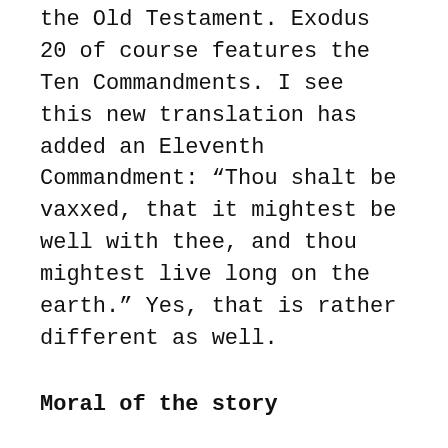the Old Testament. Exodus 20 of course features the Ten Commandments. I see this new translation has added an Eleventh Commandment: “Thou shalt be vaxxed, that it mightest be well with thee, and thou mightest live long on the earth.” Yes, that is rather different as well.
Moral of the story
Um, this is called satire. So am I and others anti-vaxxers then? NO! That is just a pejorative word – a smear term designed to demonise those who have legitimate questions and concerns about the new Covid vaccines. The great majority of those who have this hesitancy are NOT anti-vaxxers.
We have had plenty of shots, and will likely have more in the future. But we will not be bullied and